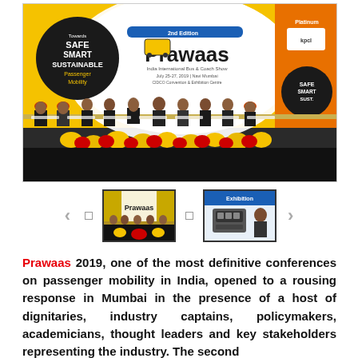[Figure (photo): Conference stage photo for Prawaas 2019 India International Bus & Coach Show, July 25-27, 2019, CIDCO Convention & Exhibition Centre, Navi Mumbai. A large yellow and white banner reads 'Prawaas' with tagline 'Towards Safe Smart Sustainable Passenger Mobility'. Many dignitaries seated at a long table on stage decorated with flowers.]
[Figure (photo): Thumbnail 1: Panel discussion at Prawaas 2019 conference.]
[Figure (photo): Thumbnail 2: Engine or machinery display at Prawaas 2019 exhibition.]
Prawaas 2019, one of the most definitive conferences on passenger mobility in India, opened to a rousing response in Mumbai in the presence of a host of dignitaries, industry captains, policymakers, academicians, thought leaders and key stakeholders representing the industry. The second